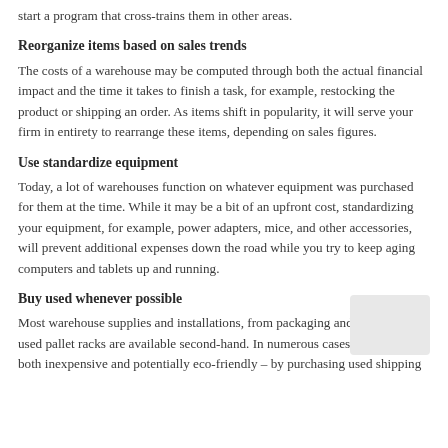start a program that cross-trains them in other areas.
Reorganize items based on sales trends
The costs of a warehouse may be computed through both the actual financial impact and the time it takes to finish a task, for example, restocking the product or shipping an order. As items shift in popularity, it will serve your firm in entirety to rearrange these items, depending on sales figures.
Use standardize equipment
Today, a lot of warehouses function on whatever equipment was purchased for them at the time. While it may be a bit of an upfront cost, standardizing your equipment, for example, power adapters, mice, and other accessories, will prevent additional expenses down the road while you try to keep aging computers and tablets up and running.
Buy used whenever possible
Most warehouse supplies and installations, from packaging and containers to used pallet racks are available second-hand. In numerous cases, these will be both inexpensive and potentially eco-friendly – by purchasing used shipping